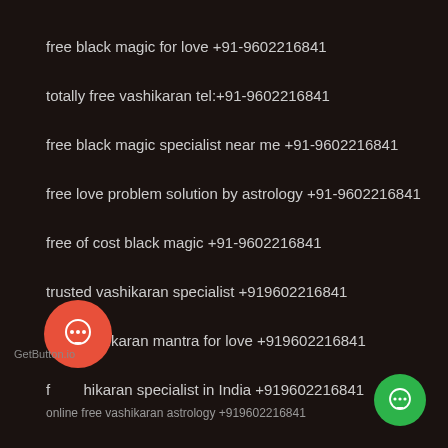free black magic for love +91-9602216841
totally free vashikaran tel:+91-9602216841
free black magic specialist near me +91-9602216841
free love problem solution by astrology +91-9602216841
free of cost black magic +91-9602216841
trusted vashikaran specialist +919602216841
free vashikaran mantra for love +919602216841
f[chat icon]hikaran specialist in India +919602216841
online free vashikaran astrology +919602216841